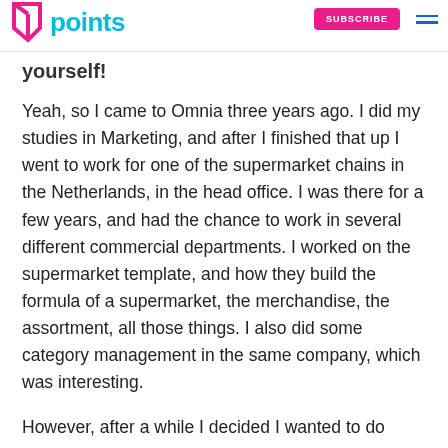points | SUBSCRIBE
yourself!
Yeah, so I came to Omnia three years ago. I did my studies in Marketing, and after I finished that up I went to work for one of the supermarket chains in the Netherlands, in the head office. I was there for a few years, and had the chance to work in several different commercial departments. I worked on the supermarket template, and how they build the formula of a supermarket, the merchandise, the assortment, all those things. I also did some category management in the same company, which was interesting.
However, after a while I decided I wanted to do something a bit more innovative. Supermarkets are quite conservative in what they do and in how new initiatives are introduced. And just in how things get